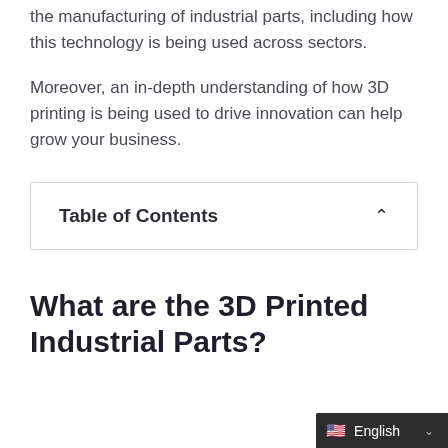the manufacturing of industrial parts, including how this technology is being used across sectors.
Moreover, an in-depth understanding of how 3D printing is being used to drive innovation can help grow your business.
Table of Contents
What are the 3D Printed Industrial Parts?